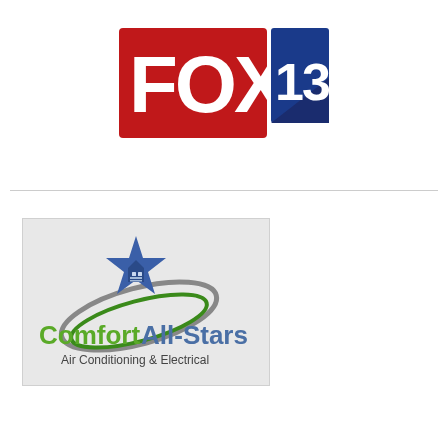[Figure (logo): FOX 13 television network logo: red background with white bold text FOX and blue square with white 13 and diagonal stripe]
[Figure (logo): Comfort All-Stars Air Conditioning & Electrical company logo: gray background with blue star, house silhouette, swoosh graphic, green and gray text]